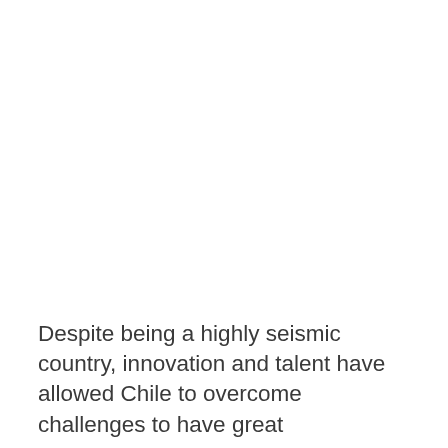Despite being a highly seismic country, innovation and talent have allowed Chile to overcome challenges to have great